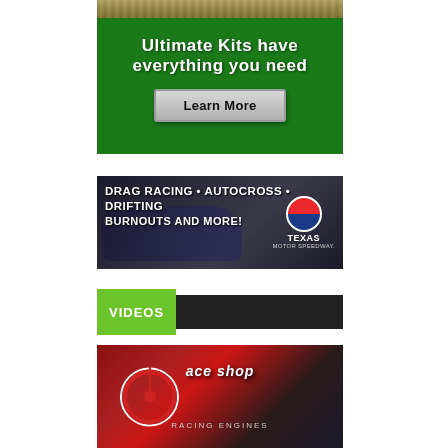[Figure (illustration): Green background advertisement banner with bold white text reading 'Ultimate Kits have everything you need' and a silver 'Learn More' button]
[Figure (illustration): Dark racing car advertisement for Texas Motor Speedway with white text: 'DRAG RACING • AUTOCROSS • DRIFTING BURNOUTS AND MORE!' with Texas Motor Speedway logo]
VIDEOS
[Figure (photo): Partial image of a red and black racing engine shop scene, showing a steering wheel and 'ace shop Racing Engines' branding]